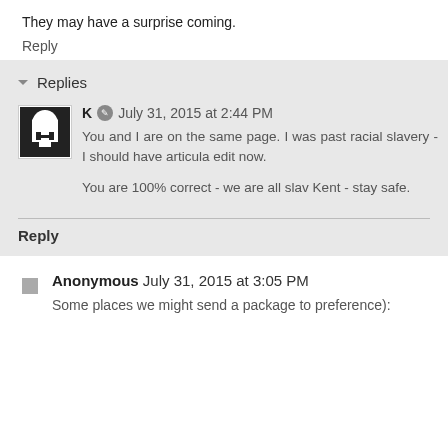They may have a surprise coming.
Reply
Replies
K  July 31, 2015 at 2:44 PM
You and I are on the same page. I was past racial slavery - I should have articula edit now.

You are 100% correct - we are all slav Kent - stay safe.
Reply
Anonymous July 31, 2015 at 3:05 PM
Some places we might send a package to preference):